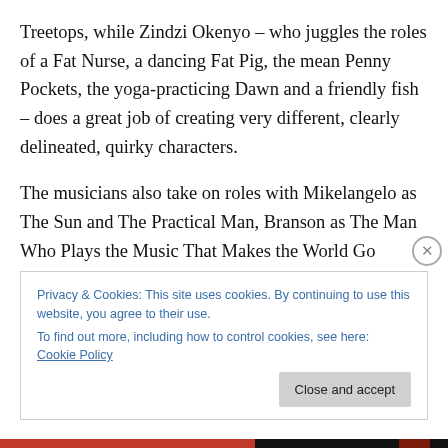Treetops, while Zindzi Okenyo – who juggles the roles of a Fat Nurse, a dancing Fat Pig, the mean Penny Pockets, the yoga-practicing Dawn and a friendly fish – does a great job of creating very different, clearly delineated, quirky characters.
The musicians also take on roles with Mikelangelo as The Sun and The Practical Man, Branson as The Man Who Plays the Music That Makes the World Go Round and Sir Isaac Newton, and Guy Freer, Sam Martin and Phil Moriarty as a tone-deaf Barber's Quartet reduced to a trio.
Privacy & Cookies: This site uses cookies. By continuing to use this website, you agree to their use.
To find out more, including how to control cookies, see here: Cookie Policy